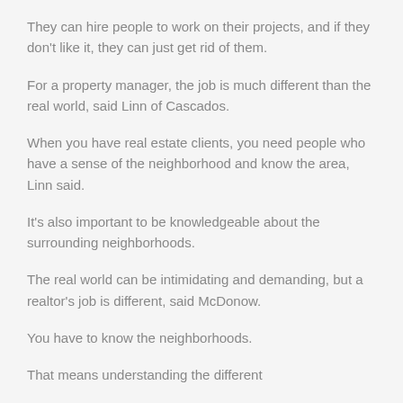They can hire people to work on their projects, and if they don't like it, they can just get rid of them.
For a property manager, the job is much different than the real world, said Linn of Cascados.
When you have real estate clients, you need people who have a sense of the neighborhood and know the area, Linn said.
It's also important to be knowledgeable about the surrounding neighborhoods.
The real world can be intimidating and demanding, but a realtor's job is different, said McDonow.
You have to know the neighborhoods.
That means understanding the different